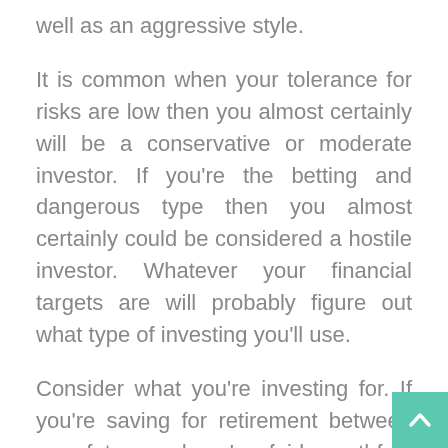well as an aggressive style.
It is common when your tolerance for risks are low then you almost certainly will be a conservative or moderate investor. If you're the betting and dangerous type then you almost certainly could be considered a hostile investor. Whatever your financial targets are will probably figure out what type of investing you'll use.
Consider what you're investing for. If you're saving for retirement between your future and you're fairly youthful, invest conservatively. However if you simply are attempting to buy that ideal home over the following few years